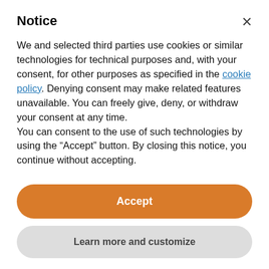Notice
We and selected third parties use cookies or similar technologies for technical purposes and, with your consent, for other purposes as specified in the cookie policy. Denying consent may make related features unavailable. You can freely give, deny, or withdraw your consent at any time.
You can consent to the use of such technologies by using the “Accept” button. By closing this notice, you continue without accepting.
Accept
Learn more and customize
at pictures.